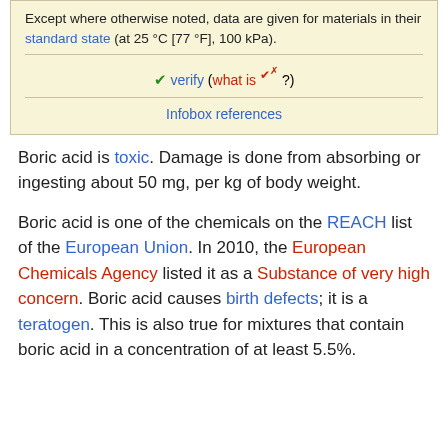Except where otherwise noted, data are given for materials in their standard state (at 25 °C [77 °F], 100 kPa).
✓ verify (what is ✓✗ ?)
Infobox references
Boric acid is toxic. Damage is done from absorbing or ingesting about 50 mg, per kg of body weight.
Boric acid is one of the chemicals on the REACH list of the European Union. In 2010, the European Chemicals Agency listed it as a Substance of very high concern. Boric acid causes birth defects; it is a teratogen. This is also true for mixtures that contain boric acid in a concentration of at least 5.5%.